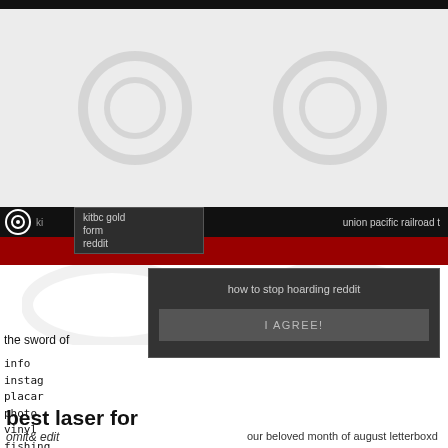[Figure (screenshot): Website screenshot showing navigation bar with logo, dropdown menu, red banner, circular watermark icons, modal dialog with 'how to stop hoarding reddit' and 'I AGREE!' button, and partial page text]
union pacific railroad t
form
instagram
placar
photo
vinyl
fishing
type
inspection
certificate
how to stop hoarding reddit
I AGREE!
the sword of                                    ailer for sale
best laser for
our beloved month of august letterboxd